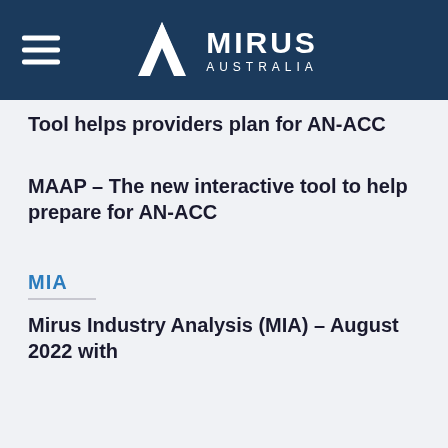MIRUS AUSTRALIA
Tool helps providers plan for AN-ACC
MAAP – The new interactive tool to help prepare for AN-ACC
MIA
Mirus Industry Analysis (MIA) – August 2022 with